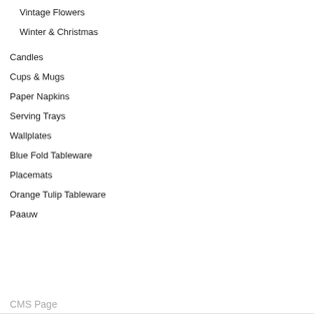Vintage Flowers
Winter & Christmas
Candles
Cups & Mugs
Paper Napkins
Serving Trays
Wallplates
Blue Fold Tableware
Placemats
Orange Tulip Tableware
Paauw
CMS Page